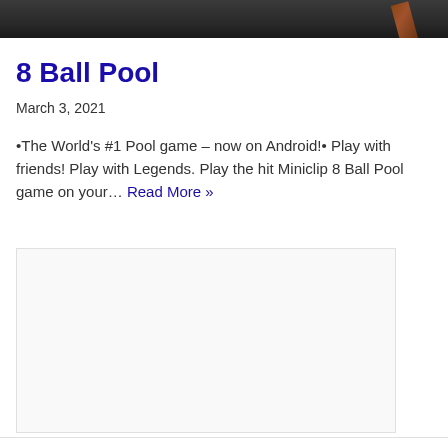[Figure (photo): Dark background image of a pool table surface with a cue stick visible on the right side, cropped at top of page]
8 Ball Pool
March 3, 2021
•The World's #1 Pool game – now on Android!• Play with friends! Play with Legends. Play the hit Miniclip 8 Ball Pool game on your… Read More »
[Figure (other): Advertisement placeholder box]